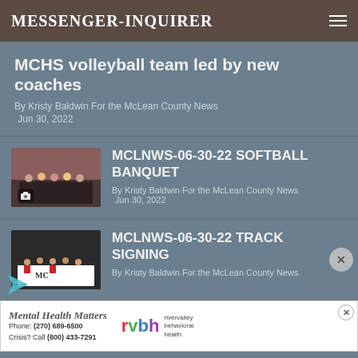Messenger-Inquirer
MCHS volleyball team led by new coaches
By Kristy Baldwin For the McLean County News
Jun 30, 2022
[Figure (photo): Group photo at softball banquet event]
MCLNWS-06-30-22 SOFTBALL BANQUET
By Kristy Baldwin For the McLean County News
Jun 30, 2022
[Figure (photo): Group photo at track signing table]
MCLNWS-06-30-22 TRACK SIGNING
By Kristy Baldwin For the McLean County News
[Figure (other): Advertisement: Mental Health Matters - River Valley Behavioral Health. Phone: (270) 689-6500, Crisis? Call (800) 433-7291]
MCHS track teams honored at